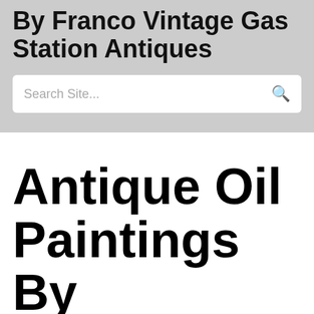By Franco Vintage Gas Station Antiques
Search Site...
Antique Oil Paintings By